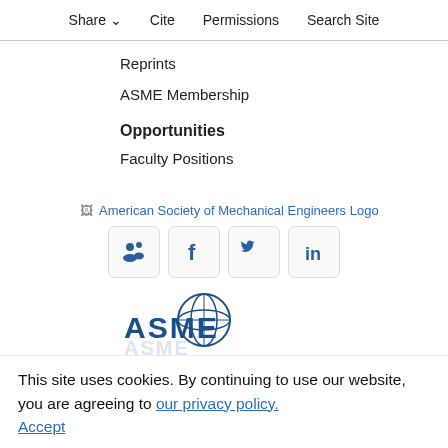Share  Cite  Permissions  Search Site
Reprints
ASME Membership
Opportunities
Faculty Positions
[Figure (logo): American Society of Mechanical Engineers Logo (broken image icon with alt text)]
[Figure (infographic): Social media icons row: MyASME (people), Facebook (f), Twitter (bird), LinkedIn (in) — each in a rounded square button]
[Figure (logo): ASME globe and text logo in blue]
This site uses cookies. By continuing to use our website, you are agreeing to our privacy policy. Accept